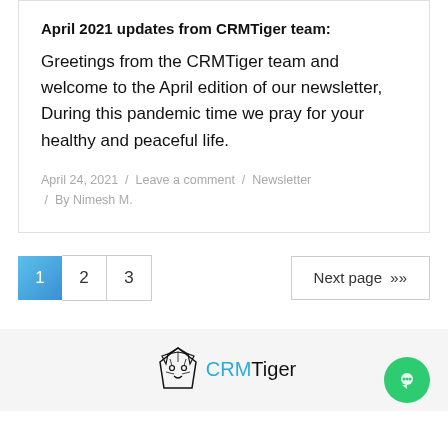April 2021 updates from CRMTiger team:
Greetings from the CRMTiger team and welcome to the April edition of our newsletter, During this pandemic time we pray for your healthy and peaceful life.
April 24, 2021 / Leave a comment / Newsletter / By Nimesh M.
[Figure (other): Pagination controls: page 1 (active, blue), page 2, page 3, and a Next page >> button]
[Figure (logo): CRMTiger logo with tiger icon and CRMTiger text, blue CRM, black Tiger]
[Figure (other): Green circular chat/message bubble icon in bottom right corner]